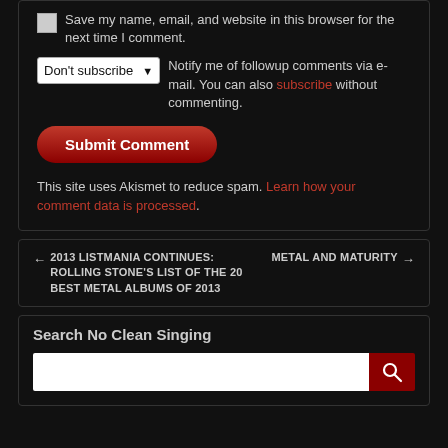Save my name, email, and website in this browser for the next time I comment.
Don't subscribe  Notify me of followup comments via e-mail. You can also subscribe without commenting.
Submit Comment
This site uses Akismet to reduce spam. Learn how your comment data is processed.
← 2013 LISTMANIA CONTINUES: ROLLING STONE'S LIST OF THE 20 BEST METAL ALBUMS OF 2013   METAL AND MATURITY →
Search No Clean Singing